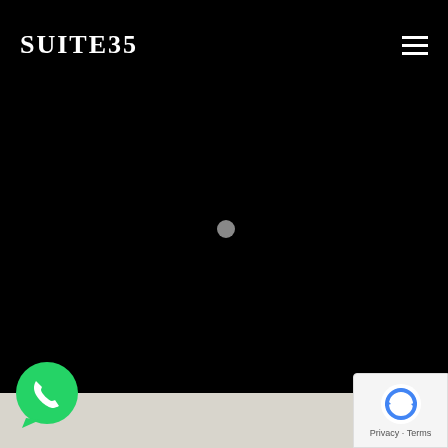SUITE35
[Figure (other): Black loading screen with a small grey spinner/circle in the center-left area]
[Figure (logo): WhatsApp green chat bubble icon with phone handset]
[Figure (logo): Google reCAPTCHA badge with blue 'rc' logo and 'Privacy - Terms' text]